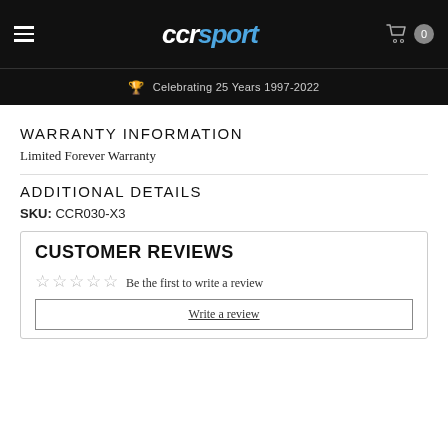CCRsport — Celebrating 25 Years 1997-2022
WARRANTY INFORMATION
Limited Forever Warranty
ADDITIONAL DETAILS
SKU: CCR030-X3
CUSTOMER REVIEWS
☆☆☆☆☆ Be the first to write a review
Write a review